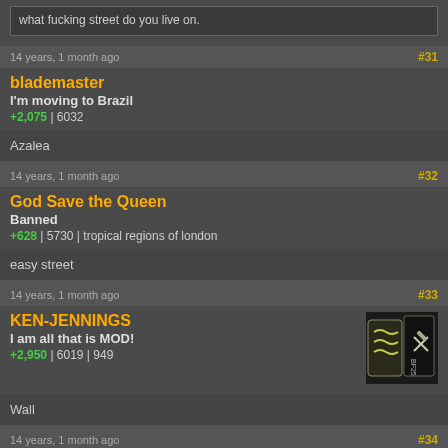what fucking street do you live on.
14 years, 1 month ago
#31
blademaster
I'm moving to Brazil
+2,075 | 6032
Azalea
14 years, 1 month ago
#32
God Save the Queen
Banned
+628 | 5730 | tropical regions of london
easy street
14 years, 1 month ago
#33
KEN-JENNINGS
I am all that is MOD!
+2,950 | 6019 | 949
[Figure (illustration): Small forum avatar/badge with game-related icons]
Wall
14 years, 1 month ago
#34